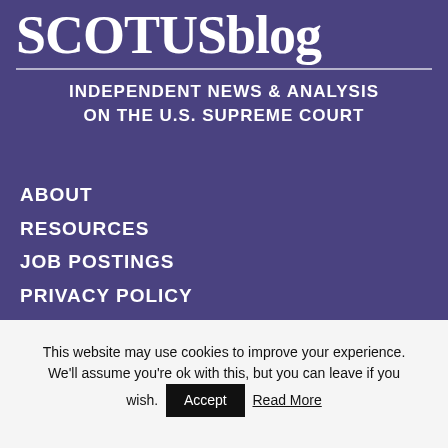SCOTUSblog
INDEPENDENT NEWS & ANALYSIS ON THE U.S. SUPREME COURT
ABOUT
RESOURCES
JOB POSTINGS
PRIVACY POLICY
CONTACT US
This website may use cookies to improve your experience. We'll assume you're ok with this, but you can leave if you wish. Accept Read More